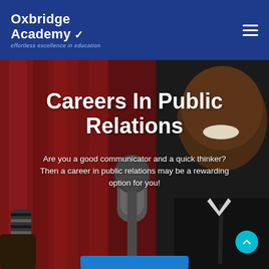Oxbridge Academy — effortless excellence in education
[Figure (photo): Background hero image showing a smiling man in a suit being interviewed with microphones in front of a red curtain backdrop.]
Careers In Public Relations
Are you a good communicator and a quick thinker? Then a career in public relations may be a rewarding option for you!